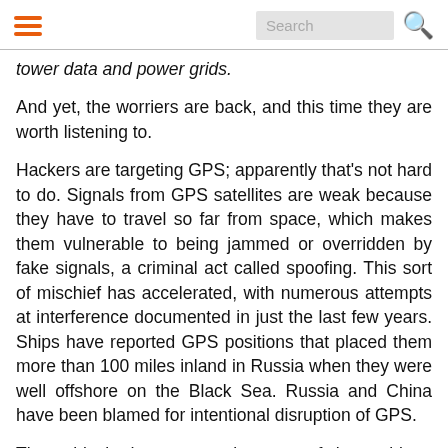[hamburger menu] [Search] [search icon]
tower data and power grids.
And yet, the worriers are back, and this time they are worth listening to.
Hackers are targeting GPS; apparently that's not hard to do. Signals from GPS satellites are weak because they have to travel so far from space, which makes them vulnerable to being jammed or overridden by fake signals, a criminal act called spoofing. This sort of mischief has accelerated, with numerous attempts at interference documented in just the last few years. Ships have reported GPS positions that placed them more than 100 miles inland in Russia when they were well offshore on the Black Sea. Russia and China have been blamed for intentional disruption of GPS.
These big bad actors are just part of the problem. GPS